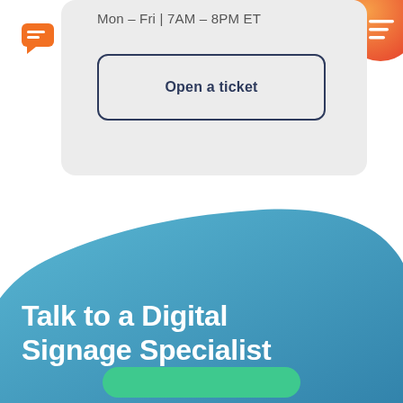Mon – Fri | 7AM – 8PM ET
[Figure (screenshot): Open a ticket button with dark blue border and rounded corners on gray card background]
Talk to a Digital Signage Specialist